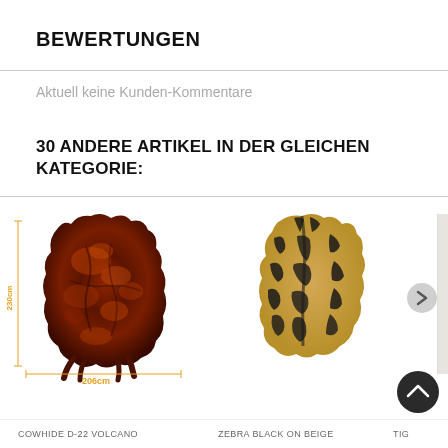BEWERTUNGEN
Aktuell keine Kunden-Kommentare
30 ANDERE ARTIKEL IN DER GLEICHEN KATEGORIE:
[Figure (photo): Product image of a cowhide rug in volcano/dark red-brown color with dimension markings showing 206cm width and 230cm height]
[Figure (photo): Product image of a zebra print black on beige cowhide rug]
COWHIDE D-22 VOLCANO
ZEBRA BLACK ON BEIGE
TIG